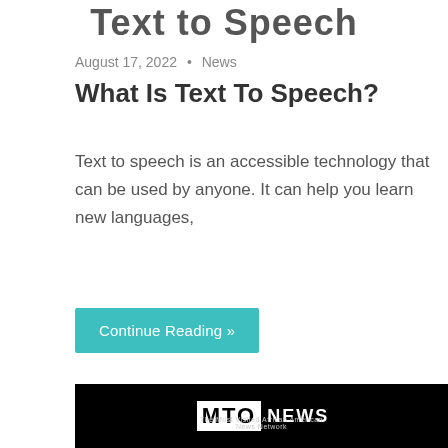Text to Speech
August 17, 2022 • News
What Is Text To Speech?
Text to speech is an accessible technology that can be used by anyone. It can help you learn new languages,
Continue Reading »
[Figure (logo): MTO News logo — The Most Visited African American News Network — white text on black background]